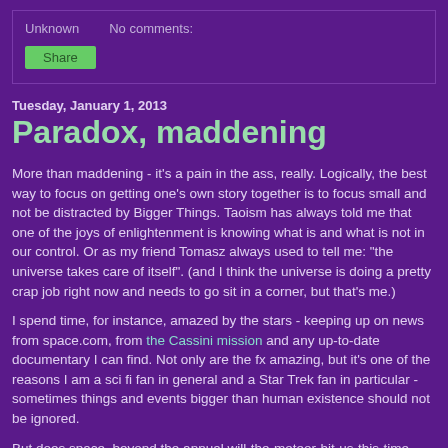Unknown    No comments:
Share
Tuesday, January 1, 2013
Paradox, maddening
More than maddening - it's a pain in the ass, really. Logically, the best way to focus on getting one's own story together is to focus small and not be distracted by Bigger Things. Taoism has always told me that one of the joys of enlightenment is knowing what is and what is not in our control. Or as my friend Tomasz always used to tell me: "the universe takes care of itself". (and I think the universe is doing a pretty crap job right now and needs to go sit in a corner, but that's me.)
I spend time, for instance, amazed by the stars - keeping up on news from space.com, from the Cassini mission and any up-to-date documentary I can find. Not only are the fx amazing, but it's one of the reasons I am a sci fi fan in general and a Star Trek fan in particular - sometimes things and events bigger than human existence should not be ignored.
But does space, beyond the annual will-the-meteor-hit-us-this-time, really matter